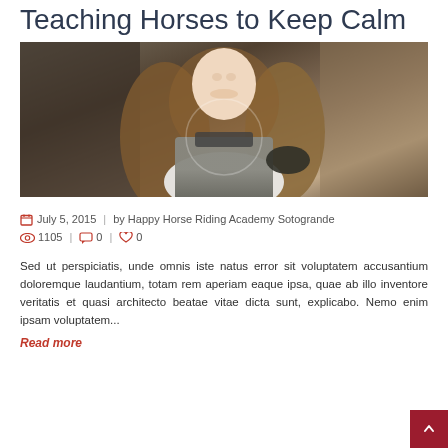Teaching Horses to Keep Calm
[Figure (photo): A smiling woman with long brown hair wearing a grey vest and black gloves, equestrian attire, photographed outdoors.]
July 5, 2015 | by Happy Horse Riding Academy Sotogrande | 1105 | 0 | 0
Sed ut perspiciatis, unde omnis iste natus error sit voluptatem accusantium doloremque laudantium, totam rem aperiam eaque ipsa, quae ab illo inventore veritatis et quasi architecto beatae vitae dicta sunt, explicabo. Nemo enim ipsam voluptatem...
Read more